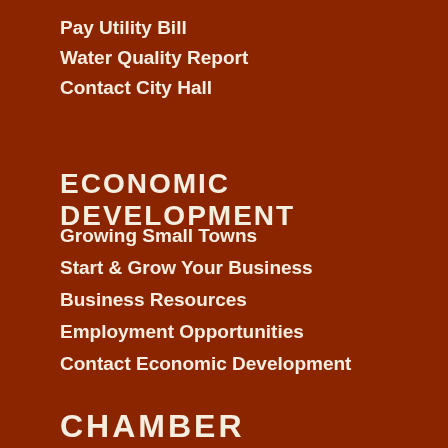Pay Utility Bill
Water Quality Report
Contact City Hall
ECONOMIC DEVELOPMENT
Growing Small Towns
Start & Grow Your Business
Business Resources
Employment Opportunities
Contact Economic Development
CHAMBER